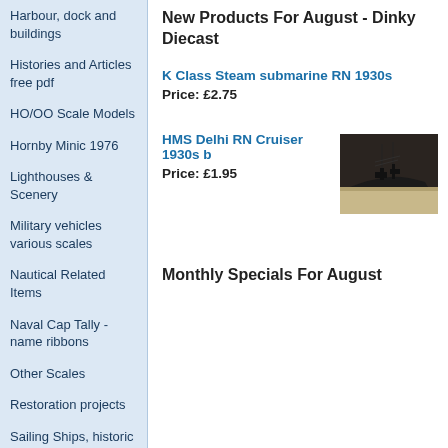Harbour, dock and buildings
Histories and Articles free pdf
HO/OO Scale Models
Hornby Minic 1976
Lighthouses & Scenery
Military vehicles various scales
Nautical Related Items
Naval Cap Tally - name ribbons
Other Scales
Restoration projects
Sailing Ships, historic vessels
Tinplate Toys
Tootsietoy (USA) Diecast models
Tremo (Treforest )
New Products For August - Dinky Diecast
K Class Steam submarine RN 1930s
Price: £2.75
HMS Delhi RN Cruiser 1930s b
Price: £1.95
[Figure (photo): Dark background photo of a naval ship model, HMS Delhi RN Cruiser 1930s]
Monthly Specials For August